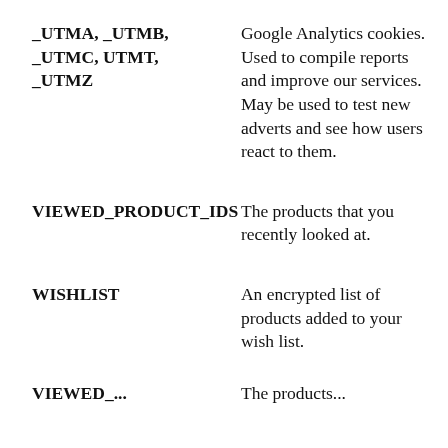| _UTMA, _UTMB, _UTMC, UTMT, _UTMZ | Google Analytics cookies. Used to compile reports and improve our services. May be used to test new adverts and see how users react to them. |
| VIEWED_PRODUCT_IDS | The products that you recently looked at. |
| WISHLIST | An encrypted list of products added to your wish list. |
| VIEWED_... | The products... |